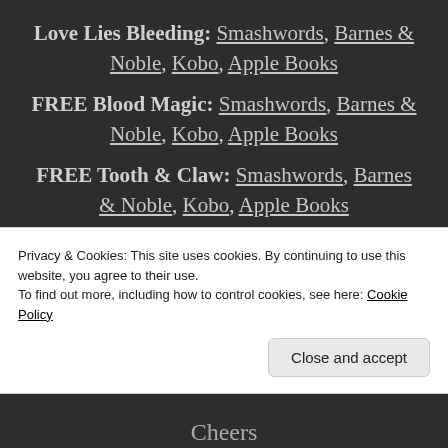Love Lies Bleeding: Smashwords, Barnes & Noble, Kobo, Apple Books
FREE Blood Magic: Smashwords, Barnes & Noble, Kobo, Apple Books
FREE Tooth & Claw: Smashwords, Barnes & Noble, Kobo, Apple Books
If you prefer paperback, use this link to order Love Lies Bleeding from Bookshop –
Privacy & Cookies: This site uses cookies. By continuing to use this website, you agree to their use. To find out more, including how to control cookies, see here: Cookie Policy
Close and accept
Cheers